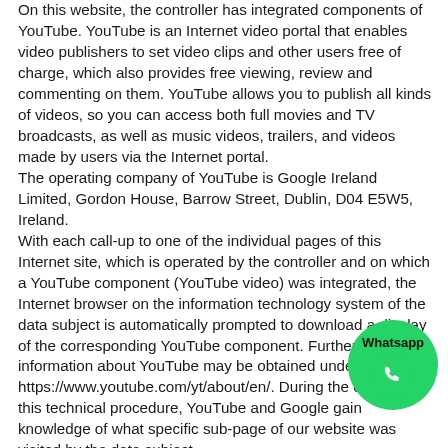On this website, the controller has integrated components of YouTube. YouTube is an Internet video portal that enables video publishers to set video clips and other users free of charge, which also provides free viewing, review and commenting on them. YouTube allows you to publish all kinds of videos, so you can access both full movies and TV broadcasts, as well as music videos, trailers, and videos made by users via the Internet portal.
The operating company of YouTube is Google Ireland Limited, Gordon House, Barrow Street, Dublin, D04 E5W5, Ireland.
With each call-up to one of the individual pages of this Internet site, which is operated by the controller and on which a YouTube component (YouTube video) was integrated, the Internet browser on the information technology system of the data subject is automatically prompted to download a display of the corresponding YouTube component. Further information about YouTube may be obtained under https://www.youtube.com/yt/about/en/. During the course of this technical procedure, YouTube and Google gain knowledge of what specific sub-page of our website was visited by the data subject.
If the data subject is logged in on YouTube, YouTube recognizes with each call-up to a sub-page that contains a YouTube video, which specific sub-page of our Internet site was visited by the data subject. This information is collected by YouTube and Google and assigned to the respective YouTube account of the data subject.
[Figure (logo): WhatsApp circular badge icon with green background, WhatsApp label text and phone handset logo icon]